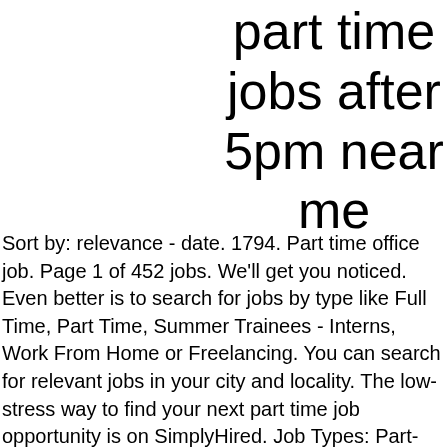part time jobs after 5pm near me
Sort by: relevance - date. 1794. Part time office job. Page 1 of 452 jobs. We'll get you noticed. Even better is to search for jobs by type like Full Time, Part Time, Summer Trainees - Interns, Work From Home or Freelancing. You can search for relevant jobs in your city and locality. The low-stress way to find your next part time job opportunity is on SimplyHired. Job Types: Part-time, Permanent. all jobs. Add Job Offer. Even better is to search for jobs by type like Full Time, Part Time, Summer Trainees - Interns, Work From Home or Freelancing. 2778 Evening jobs and careers on totaljobs. New part time careers in Bengaluru, Karnataka are added daily on SimplyHired.com. Sign-In. Reach out to millions of job offers by posting your resume and creating alerts for free. Get part time jobs sent to you the day they are posted, be sure to sign up for